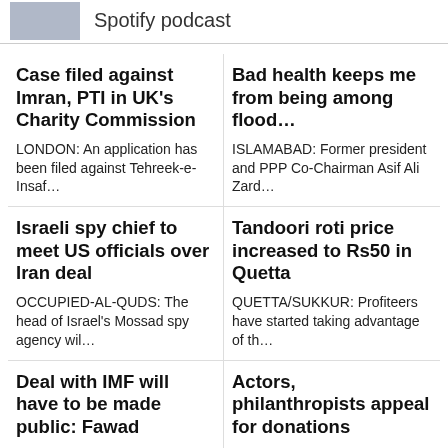Spotify podcast
Case filed against Imran, PTI in UK's Charity Commission
LONDON: An application has been filed against Tehreek-e-Insaf…
Bad health keeps me from being among flood…
ISLAMABAD: Former president and PPP Co-Chairman Asif Ali Zard…
Israeli spy chief to meet US officials over Iran deal
OCCUPIED-AL-QUDS: The head of Israel's Mossad spy agency wil…
Tandoori roti price increased to Rs50 in Quetta
QUETTA/SUKKUR: Profiteers have started taking advantage of th…
Deal with IMF will have to be made public: Fawad
ISLAMABAD: PTI Senior
Actors, philanthropists appeal for donations
KARACHI: Over 30